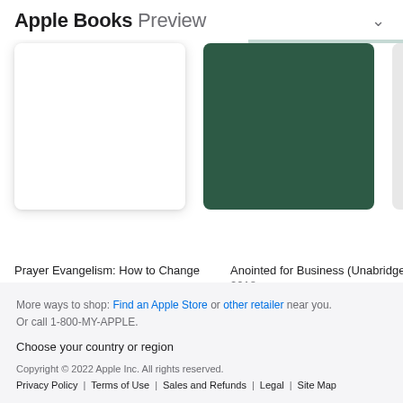Apple Books Preview
[Figure (illustration): Book cover - white/blank cover for Prayer Evangelism]
Prayer Evangelism: How to Change the Spiritual Climate...
2018
[Figure (illustration): Book cover - dark green cover for Anointed for Business (Unabridged)]
Anointed for Business (Unabridged)
2018
[Figure (illustration): Partially visible third book cover]
Th...
Re...
201
More ways to shop: Find an Apple Store or other retailer near you. Or call 1-800-MY-APPLE.
Choose your country or region
Copyright © 2022 Apple Inc. All rights reserved.
Privacy Policy | Terms of Use | Sales and Refunds | Legal | Site Map